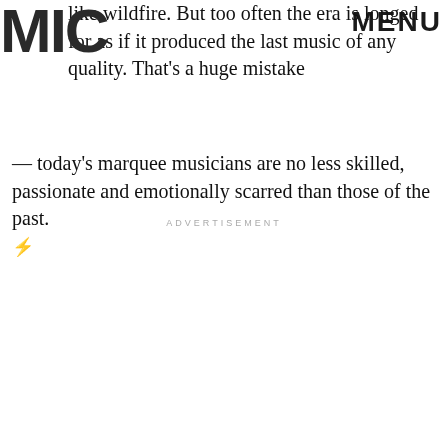MIC | MENU
like wildfire. But too often the era is longed for as if it produced the last music of any quality. That's a huge mistake — today's marquee musicians are no less skilled, passionate and emotionally scarred than those of the past.
ADVERTISEMENT